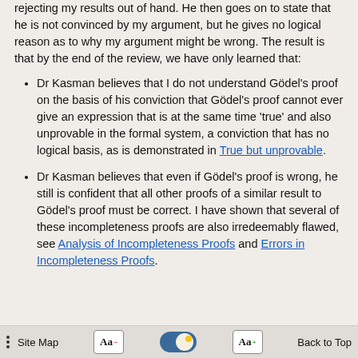rejecting my results out of hand. He then goes on to state that he is not convinced by my argument, but he gives no logical reason as to why my argument might be wrong. The result is that by the end of the review, we have only learned that:
Dr Kasman believes that I do not understand Gödel's proof on the basis of his conviction that Gödel's proof cannot ever give an expression that is at the same time 'true' and also unprovable in the formal system, a conviction that has no logical basis, as is demonstrated in True but unprovable.
Dr Kasman believes that even if Gödel's proof is wrong, he still is confident that all other proofs of a similar result to Gödel's proof must be correct. I have shown that several of these incompleteness proofs are also irredeemably flawed, see Analysis of Incompleteness Proofs and Errors in Incompleteness Proofs.
Site Map   Aa-   [toggle]   Aa+   Back to Top